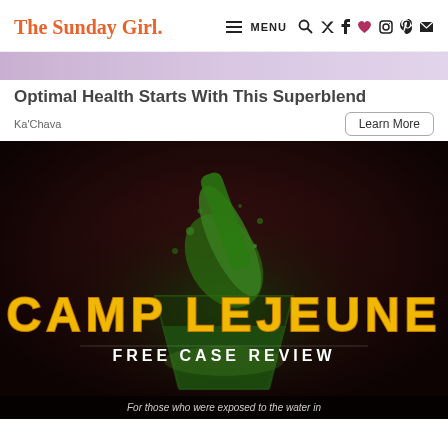The Sunday Girl. | MENU
[Figure (photo): Top portion of a purple/lavender smoothie or drink advertisement banner]
Optimal Health Starts With This Superblend
Ka'Chava
Learn More
[Figure (photo): Dark-themed advertisement image for Camp Lejeune Free Case Review, showing a glass of greenish liquid splashing dramatically, with bold yellow distressed text reading CAMP LEJEUNE and white text FREE CASE REVIEW below it, and partial caption text at the bottom: For those who were exposed to the water in]